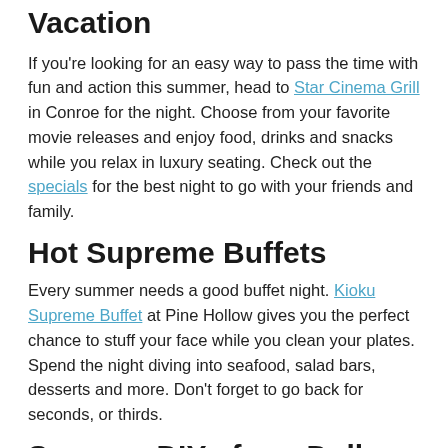Vacation
If you're looking for an easy way to pass the time with fun and action this summer, head to Star Cinema Grill in Conroe for the night. Choose from your favorite movie releases and enjoy food, drinks and snacks while you relax in luxury seating. Check out the specials for the best night to go with your friends and family.
Hot Supreme Buffets
Every summer needs a good buffet night. Kioku Supreme Buffet at Pine Hollow gives you the perfect chance to stuff your face while you clean your plates. Spend the night diving into seafood, salad bars, desserts and more. Don't forget to go back for seconds, or thirds.
Summer DIYs from Dollar Tree